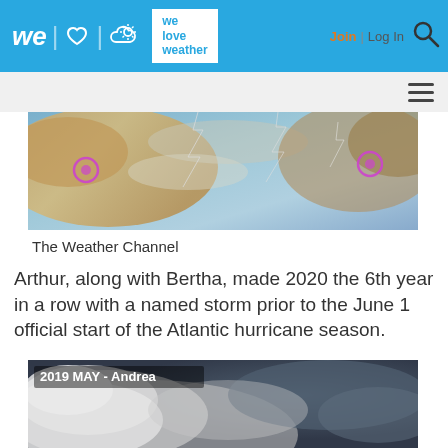we love weather — Join | Log In
[Figure (photo): Satellite image showing storm clouds with lightning overlays and magenta highlight markers]
The Weather Channel
Arthur, along with Bertha, made 2020 the 6th year in a row with a named storm prior to the June 1 official start of the Atlantic hurricane season.
[Figure (photo): Satellite image of tropical storm Andrea from May 2019, showing spiral cloud bands over ocean]